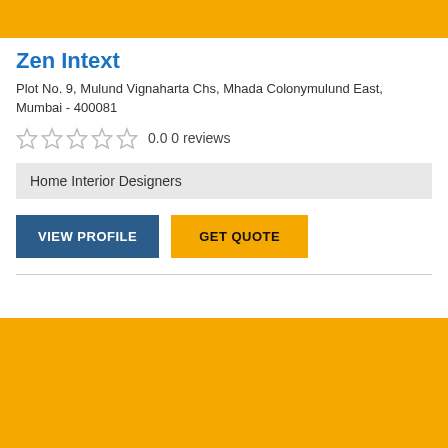[Figure (other): Yellow/gold banner at top of page]
Zen Intext
Plot No. 9, Mulund Vignaharta Chs, Mhada Colonymulund East, Mumbai - 400081
0.0 0 reviews
Home Interior Designers
VIEW PROFILE
GET QUOTE
[Figure (other): Yellow/gold banner at bottom of page]